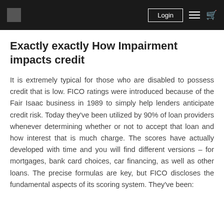Login
Exactly exactly How Impairment impacts credit
It is extremely typical for those who are disabled to possess credit that is low. FICO ratings were introduced because of the Fair Isaac business in 1989 to simply help lenders anticipate credit risk. Today they've been utilized by 90% of loan providers whenever determining whether or not to accept that loan and how interest that is much charge. The scores have actually developed with time and you will find different versions – for mortgages, bank card choices, car financing, as well as other loans. The precise formulas are key, but FICO discloses the fundamental aspects of its scoring system. They've been: